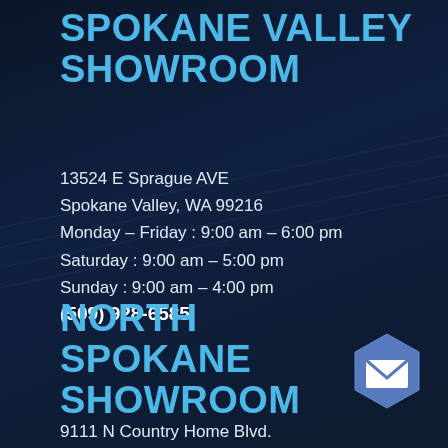SPOKANE VALLEY SHOWROOM
13524 E Sprague AVE
Spokane Valley, WA 99216
Monday – Friday : 9:00 am – 6:00 pm
Saturday : 9:00 am – 5:00 pm
Sunday : 9:00 am – 4:00 pm
(509) 928-6585
NORTH SPOKANE SHOWROOM
9111 N Country Home Blvd.